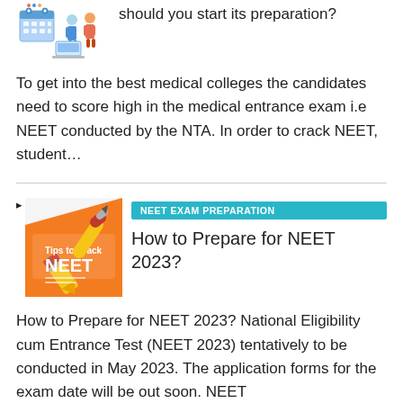[Figure (illustration): Calendar and study-related illustration in top-left area]
should you start its preparation?
To get into the best medical colleges the candidates need to score high in the medical entrance exam i.e NEET conducted by the NTA. In order to crack NEET, student…
[Figure (illustration): Orange 'Tips to Crack NEET' pencil/book graphic]
NEET EXAM PREPARATION
How to Prepare for NEET 2023?
How to Prepare for NEET 2023? National Eligibility cum Entrance Test (NEET 2023) tentatively to be conducted in May 2023. The application forms for the exam date will be out soon. NEET